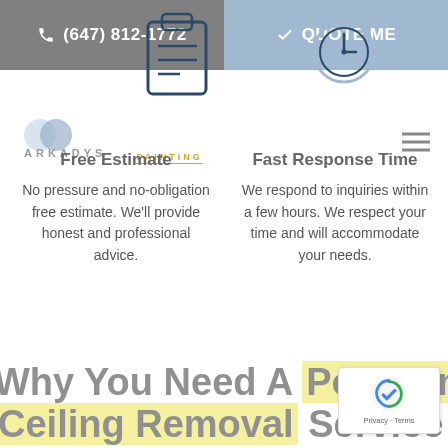(647) 812-1772 | QUOTE ME
[Figure (logo): Arkadys Painting logo with two overlapping circles and text ARKADYS PAINTING]
Free Estimate
No pressure and no-obligation free estimate. We'll provide honest and professional advice.
Fast Response Time
We respond to inquiries within a few hours. We respect your time and will accommodate your needs.
Why You Need A Popcorn Ceiling Removal Service